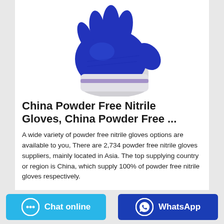[Figure (photo): Blue nitrile glove with white wrist cuff, photographed against white background]
China Powder Free Nitrile Gloves, China Powder Free ...
A wide variety of powder free nitrile gloves options are available to you, There are 2,734 powder free nitrile gloves suppliers, mainly located in Asia. The top supplying country or region is China, which supply 100% of powder free nitrile gloves respectively.
Chat online
WhatsApp